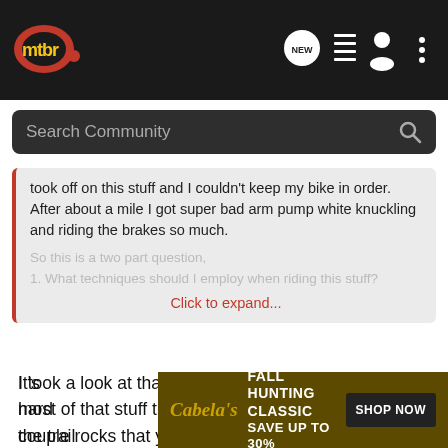[Figure (screenshot): MTBR website navigation bar with logo, NEW chat icon, list icon, user icon, and more options icon]
[Figure (screenshot): Search Community search bar with magnifying glass icon]
took off on this stuff and I couldn't keep my bike in order. After about a mile I got super bad arm pump white knuckling and riding the brakes so much.

So this is a two part question,
1. What techniques should I employ when riding this stuff?
Click to expand...
I took a look at that trail on some videos. It looks like most of that stuff the bike can roll through, with a couple rocks that you have to square up to or dodge. Less brakes! Brakes bind up the suspension and wear out your hands. Use them tactically-on/off.
It's hard... when the trail...
[Figure (screenshot): Cabela's Fall Hunting Classic advertisement banner: FALL HUNTING CLASSIC SAVE UP TO 30% SHOP NOW]